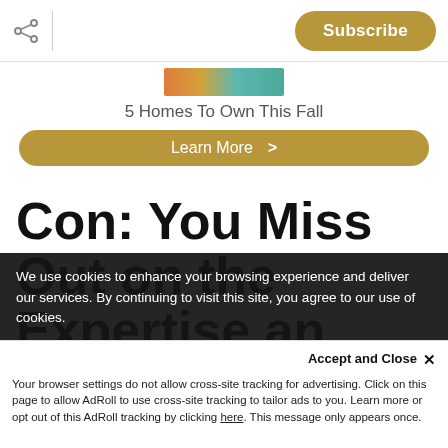Subscribe
[Figure (photo): Partial view of a colorful home/real estate advertisement image strip]
5 Homes To Own This Fall
Learn More >
Con: You Miss Out on the Expertise an
We use cookies to enhance your browsing experience and deliver our services. By continuing to visit this site, you agree to our use of cookies.
Accept and Close ×
Your browser settings do not allow cross-site tracking for advertising. Click on this page to allow AdRoll to use cross-site tracking to tailor ads to you. Learn more or opt out of this AdRoll tracking by clicking here. This message only appears once.